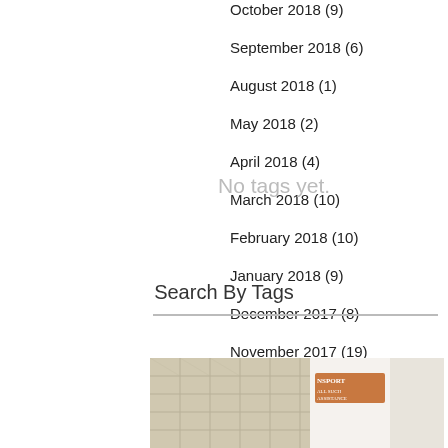October 2018 (9)
September 2018 (6)
August 2018 (1)
May 2018 (2)
April 2018 (4)
March 2018 (10)
February 2018 (10)
January 2018 (9)
December 2017 (8)
November 2017 (19)
October 2017 (21)
September 2017 (23)
No tags yet.
Search By Tags
[Figure (photo): Partial view of a document or passport with decorative background, showing partial text 'NSPORT' in orange/brown on white paper, with tiled ceiling visible in background]